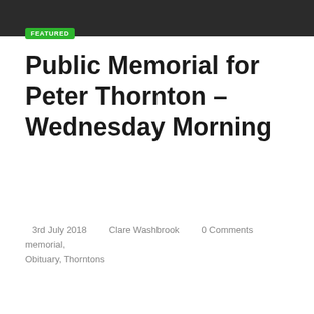FEATURED
Public Memorial for Peter Thornton – Wednesday Morning
3rd July 2018    Clare Washbrook    0 Comments    memorial, Obituary, Thorntons